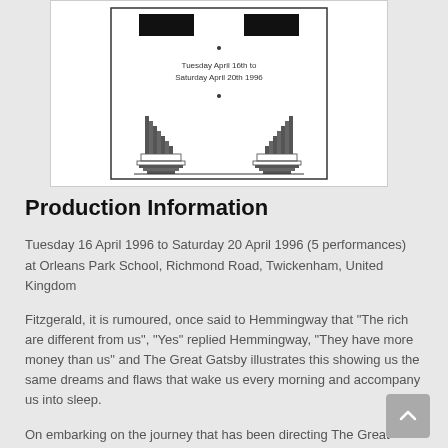[Figure (illustration): A playbill or program cover for a theatrical production, showing Art Deco style decorative elements with pillars/columns at the bottom, and text reading 'Tuesday April 16th to Saturday April 20th 1996' in the center of a bordered rectangle design.]
Production Information
Tuesday 16 April 1996 to Saturday 20 April 1996 (5 performances)
at Orleans Park School, Richmond Road, Twickenham, United Kingdom
Fitzgerald, it is rumoured, once said to Hemmingway that "The rich are different from us", "Yes" replied Hemmingway, "They have more money than us" and The Great Gatsby illustrates this showing us the same dreams and flaws that wake us every morning and accompany us into sleep.
On embarking on the journey that has been directing The Great